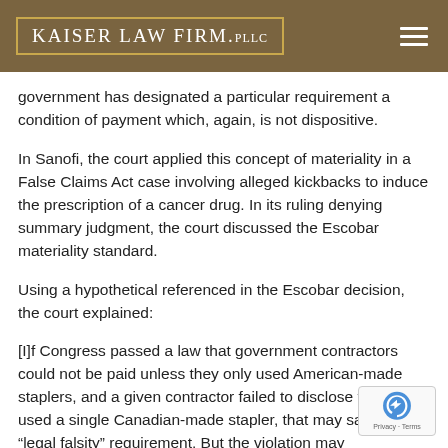Kaiser Law Firm, PLLC
government has designated a particular requirement a condition of payment which, again, is not dispositive.
In Sanofi, the court applied this concept of materiality in a False Claims Act case involving alleged kickbacks to induce the prescription of a cancer drug. In its ruling denying summary judgment, the court discussed the Escobar materiality standard.
Using a hypothetical referenced in the Escobar decision, the court explained:
[I]f Congress passed a law that government contractors could not be paid unless they only used American-made staplers, and a given contractor failed to disclose that office used a single Canadian-made stapler, that may satisfy the “legal falsity” requirement. But the violation may